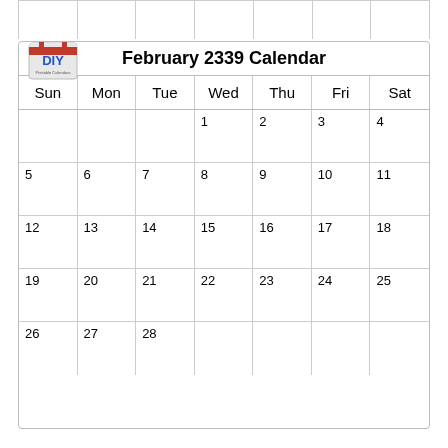[Figure (other): Partial calendar row from previous month (empty cells)]
February 2339 Calendar
| Sun | Mon | Tue | Wed | Thu | Fri | Sat |
| --- | --- | --- | --- | --- | --- | --- |
|  |  |  | 1 | 2 | 3 | 4 |
| 5 | 6 | 7 | 8 | 9 | 10 | 11 |
| 12 | 13 | 14 | 15 | 16 | 17 | 18 |
| 19 | 20 | 21 | 22 | 23 | 24 | 25 |
| 26 | 27 | 28 |  |  |  |  |